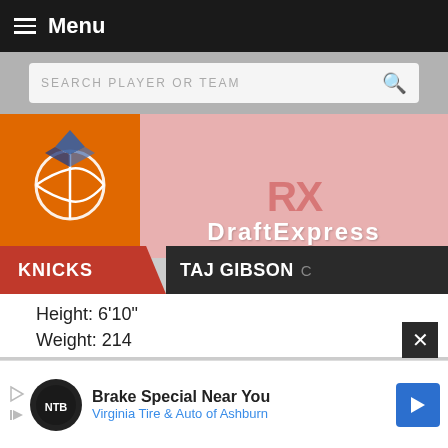Menu
SEARCH PLAYER OR TEAM
[Figure (logo): Orange basketball team logo on left, DraftExpress pink logo on right]
KNICKS  TAJ GIBSON C
Height: 6'10"
Weight: 214
[Figure (screenshot): Social share overlay with Google+ and Instagram buttons; partial stats text: 4...ts, 4...ounds, 0...ts, 12...PG, -2]
Brake Special Near You
Virginia Tire & Auto of Ashburn